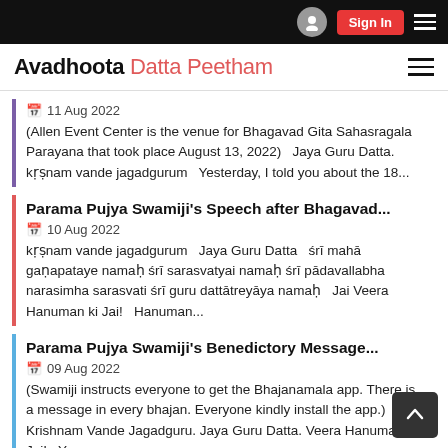Avadhoota Datta Peetham
11 Aug 2022 — (Allen Event Center is the venue for Bhagavad Gita Sahasragala Parayana that took place August 13, 2022)   Jaya Guru Datta. kṛṣnam vande jagadgurum   Yesterday, I told you about the 18...
Parama Pujya Swamiji's Speech after Bhagavad...
10 Aug 2022 — kṛṣnam vande jagadgurum   Jaya Guru Datta   śrī mahā gaṇapataye namaḥ śrī sarasvatyai namaḥ śrī pādavallabha narasimha sarasvati śrī guru dattātreẏāẏa namaḥ   Jai Veera Hanuman ki Jai!   Hanuman...
Parama Pujya Swamiji's Benedictory Message...
09 Aug 2022 — (Swamiji instructs everyone to get the Bhajanamala app. There is a message in every bhajan. Everyone kindly install the app.)   Krishnam Vande Jagadguru. Jaya Guru Datta. Veera Hanuman ki Jai!   You may...